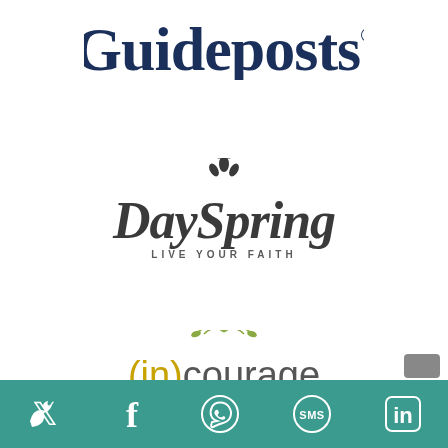[Figure (logo): Guideposts logo in dark navy blue serif font with registered trademark symbol]
[Figure (logo): DaySpring logo with decorative splash above, script font, tagline LIVE YOUR FAITH below]
[Figure (logo): (in)courage logo with tagline 'home for the hearts of women']
[Figure (infographic): Teal social sharing bar at bottom with Twitter, Facebook, WhatsApp, SMS, and LinkedIn icons in white]